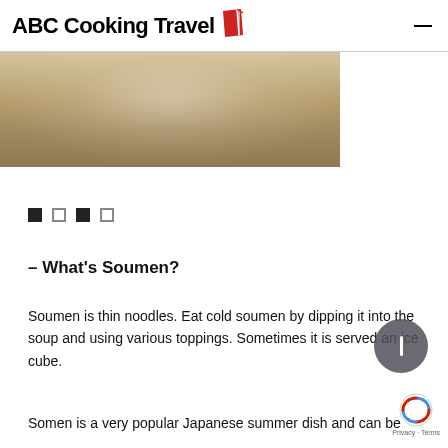ABC Cooking Travel
[Figure (photo): Photo of a glass bowl/cup with soumen noodles and dipping sauce, shot from above on a wooden surface]
[Figure (infographic): Slideshow navigation dots: filled square, outline square, filled square, outline square]
– What's Soumen?
Soumen is thin noodles. Eat cold soumen by dipping it into the soup and using various toppings. Sometimes it is served an ice cube.
Somen is a very popular Japanese summer dish and can be